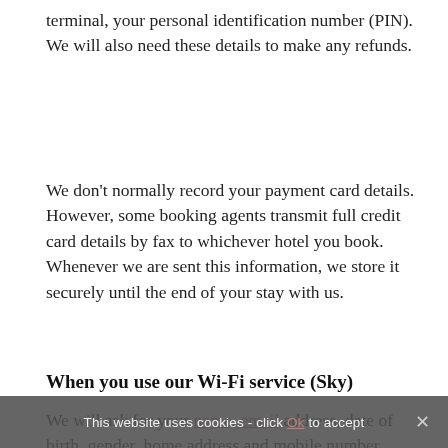terminal, your personal identification number (PIN). We will also need these details to make any refunds.
We don't normally record your payment card details. However, some booking agents transmit full credit card details by fax to whichever hotel you book. Whenever we are sent this information, we store it securely until the end of your stay with us.
When you use our Wi-Fi service (Sky)
We will ask for your name, email address, date of birth, gender, home address and mobile number
This website uses cookies - click Ok to accept